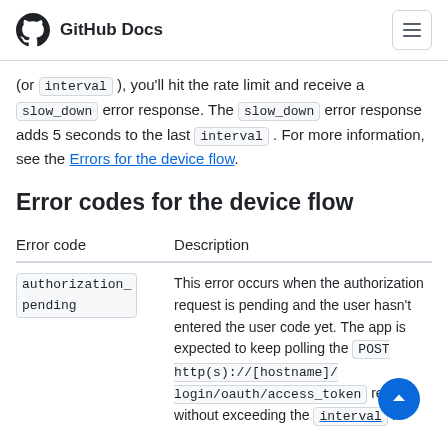GitHub Docs
(or interval ), you'll hit the rate limit and receive a slow_down error response. The slow_down error response adds 5 seconds to the last interval . For more information, see the Errors for the device flow.
Error codes for the device flow
| Error code | Description |
| --- | --- |
| authorization_pending | This error occurs when the authorization request is pending and the user hasn't entered the user code yet. The app is expected to keep polling the POST http(s)://[hostname]/login/oauth/access_token request without exceeding the interval . |
[Figure (other): Blue circular scroll-to-top button in the lower right corner]